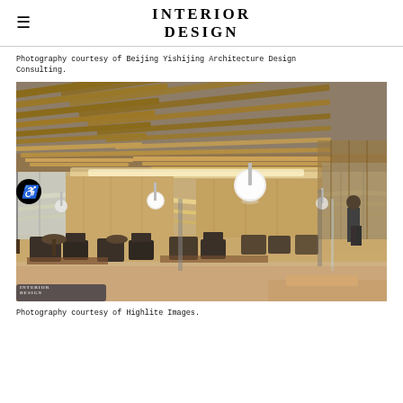INTERIOR DESIGN
Photography courtesy of Beijing Yishijing Architecture Design Consulting.
[Figure (photo): Interior of a modern architectural space featuring a dramatic wooden slatted ceiling with integrated lighting, open-plan seating area with dark upholstered chairs and tables, floor-to-ceiling windows, large spherical pendant lights, and a person standing near a glass partition. The space has warm wood tones and a contemporary design aesthetic.]
Photography courtesy of Highlite Images.